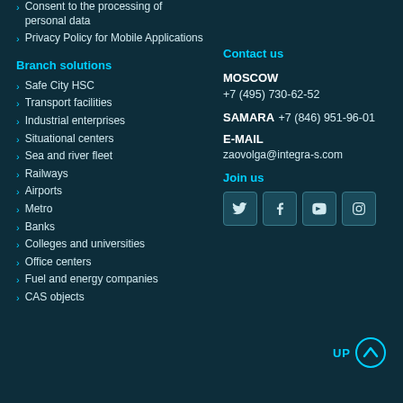Consent to the processing of personal data
Privacy Policy for Mobile Applications
Branch solutions
Safe City HSC
Transport facilities
Industrial enterprises
Situational centers
Sea and river fleet
Railways
Airports
Metro
Banks
Colleges and universities
Office centers
Fuel and energy companies
CAS objects
Contact us
MOSCOW +7 (495) 730-62-52
SAMARA +7 (846) 951-96-01
E-MAIL zaovolga@integra-s.com
Join us
[Figure (other): Social media icons: Twitter, Facebook, YouTube, Instagram]
UP